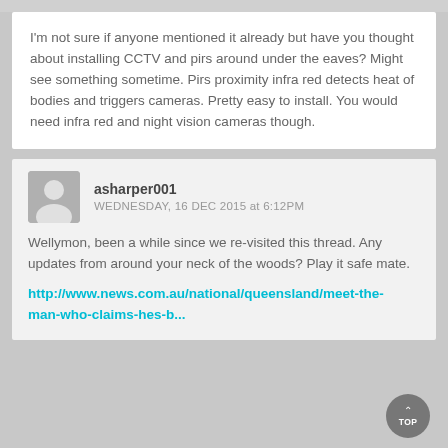I'm not sure if anyone mentioned it already but have you thought about installing CCTV and pirs around under the eaves? Might see something sometime. Pirs proximity infra red detects heat of bodies and triggers cameras. Pretty easy to install. You would need infra red and night vision cameras though.
asharper001
WEDNESDAY, 16 DEC 2015 at 6:12PM
Wellymon, been a while since we re-visited this thread. Any updates from around your neck of the woods? Play it safe mate.
http://www.news.com.au/national/queensland/meet-the-man-who-claims-hes-b...